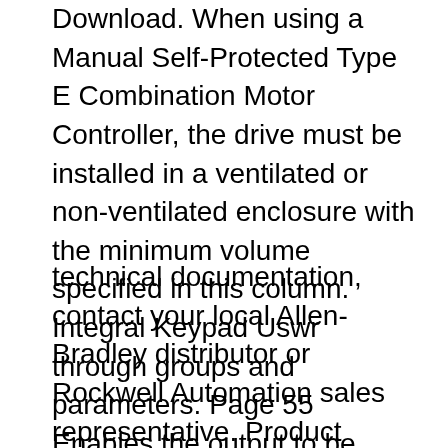BRADLEY POWERFLEX 4M USER MANUAL Pdf Download. When using a Manual Self-Protected Type E Combination Motor Controller, the drive must be installed in a ventilated or non-ventilated enclosure with the minimum volume specified in this column. Integral Keypad Uswr through groups and parameters. Page 55 Enables the output to be controlled by
technical documentation, contact your local Allen-Bradley distributor or Rockwell Automation sales representative. Product Overview The PowerFlex 750-Series is a robust family of AC drives that provide ease of use, flexibility, and performance for a variety of industrial applications. The View online Installation instructions manual for Allen-